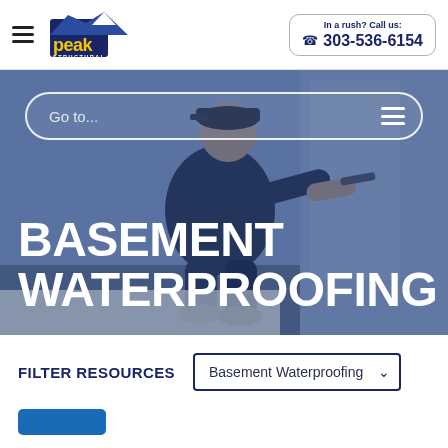[Figure (logo): Peak Structural Inc. logo with mountain peak graphic and yellow/blue text]
In a rush? Call us: 303-536-6154
[Figure (photo): Worker performing basement waterproofing work in a basement, wearing a cap]
Go to...
BASEMENT WATERPROOFING
FILTER RESOURCES
Basement Waterproofing